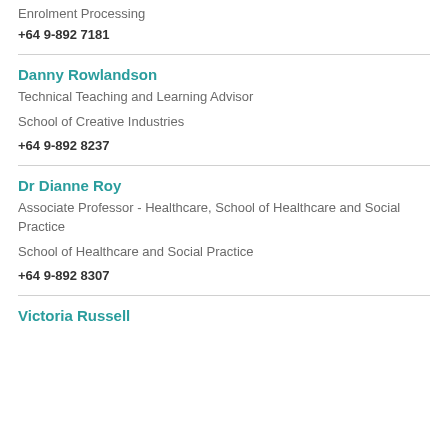Enrolment Processing
+64 9-892 7181
Danny Rowlandson
Technical Teaching and Learning Advisor
School of Creative Industries
+64 9-892 8237
Dr Dianne Roy
Associate Professor - Healthcare, School of Healthcare and Social Practice
School of Healthcare and Social Practice
+64 9-892 8307
Victoria Russell